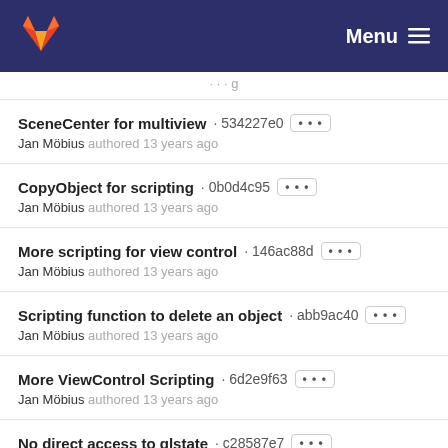GitLab — Menu
SceneCenter for multiview · 534227e0 ··· Jan Möbius authored 13 years ago
CopyObject for scripting · 0b0d4c95 ··· Jan Möbius authored 13 years ago
More scripting for view control · 146ac88d ··· Jan Möbius authored 13 years ago
Scripting function to delete an object · abb9ac40 ··· Jan Möbius authored 13 years ago
More ViewControl Scripting · 6d2e9f63 ··· Jan Möbius authored 13 years ago
No direct access to glstate · c28587e7 ··· Jan Möbius authored 13 years ago